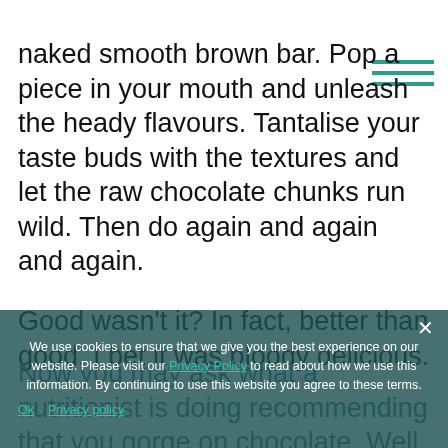naked smooth brown bar. Pop a piece in your mouth and unleash the heady flavours. Tantalise your taste buds with the textures and let the raw chocolate chunks run wild. Then do again and again and again.
Good wasn't it? In fact, better than good. I bet it was bloody delicious.
We use cookies to ensure that we give you the best experience on our website. Please visit our Privacy Policy to read about how we use this information. By continuing to use this website you agree to these terms. Ok  Privacy policy
Now you may ask what a nutritionist is doing recommending that you gorge on chocolate. Well the good news is – I haven't completely lost my marbles.